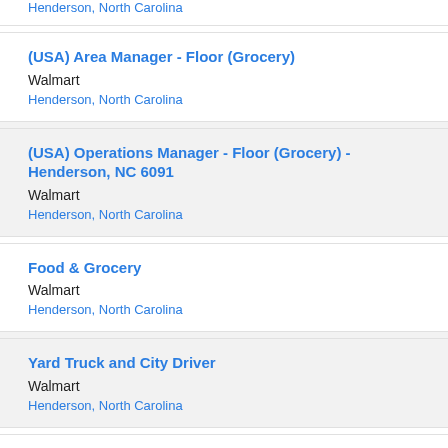Henderson, North Carolina
(USA) Area Manager - Floor (Grocery)
Walmart
Henderson, North Carolina
(USA) Operations Manager - Floor (Grocery) - Henderson, NC 6091
Walmart
Henderson, North Carolina
Food & Grocery
Walmart
Henderson, North Carolina
Yard Truck and City Driver
Walmart
Henderson, North Carolina
Administration and Clerical
Walmart
Henderson, North Carolina